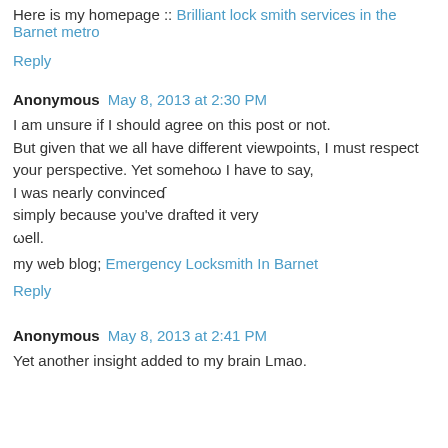Here is my homepage :: Brilliant lock smith services in the Barnet metro
Reply
Anonymous May 8, 2013 at 2:30 PM
I am unsure if I should agree on this post or not. But given that we all have different viewpoints, I must respect your perspective. Yet somehow I have to say, I was nearly convinced simply because you've drafted it very well.
my web blog; Emergency Locksmith In Barnet
Reply
Anonymous May 8, 2013 at 2:41 PM
Yet another insight added to my brain Lmao.